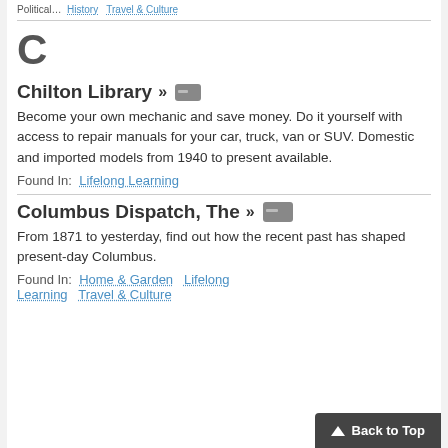Political… History… Travel & Culture…
C
Chilton Library »
Become your own mechanic and save money. Do it yourself with access to repair manuals for your car, truck, van or SUV. Domestic and imported models from 1940 to present available.
Found In: Lifelong Learning
Columbus Dispatch, The »
From 1871 to yesterday, find out how the recent past has shaped present-day Columbus.
Found In: Home & Garden  Lifelong Learning  Travel & Culture